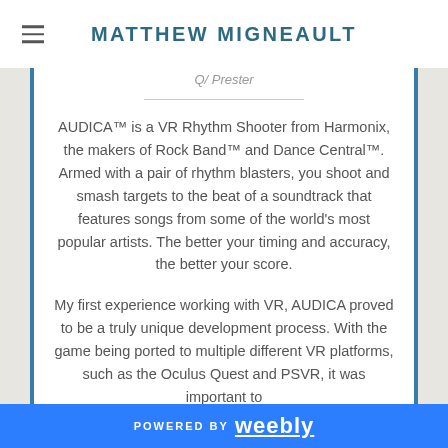MATTHEW MIGNEAULT
Q/ Prester
AUDICA™ is a VR Rhythm Shooter from Harmonix, the makers of Rock Band™ and Dance Central™. Armed with a pair of rhythm blasters, you shoot and smash targets to the beat of a soundtrack that features songs from some of the world's most popular artists. The better your timing and accuracy, the better your score.
My first experience working with VR, AUDICA proved to be a truly unique development process. With the game being ported to multiple different VR platforms, such as the Oculus Quest and PSVR, it was important to
POWERED BY weebly